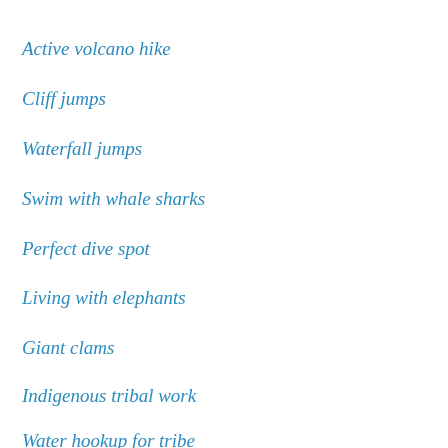Active volcano hike
Cliff jumps
Waterfall jumps
Swim with whale sharks
Perfect dive spot
Living with elephants
Giant clams
Indigenous tribal work
Water hookup for tribe